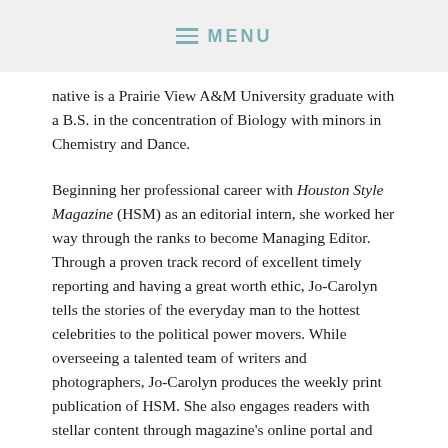≡ MENU
native is a Prairie View A&M University graduate with a B.S. in the concentration of Biology with minors in Chemistry and Dance.
Beginning her professional career with Houston Style Magazine (HSM) as an editorial intern, she worked her way through the ranks to become Managing Editor. Through a proven track record of excellent timely reporting and having a great worth ethic, Jo-Carolyn tells the stories of the everyday man to the hottest celebrities to the political power movers. While overseeing a talented team of writers and photographers, Jo-Carolyn produces the weekly print publication of HSM. She also engages readers with stellar content through magazine's online portal and social media channels. Jo-Carolyn is also the Content Coordinator for a neighborhood magazine based in Bellingham, Washington called Lake Views Magazine.
Her communication talents move from the pages of print